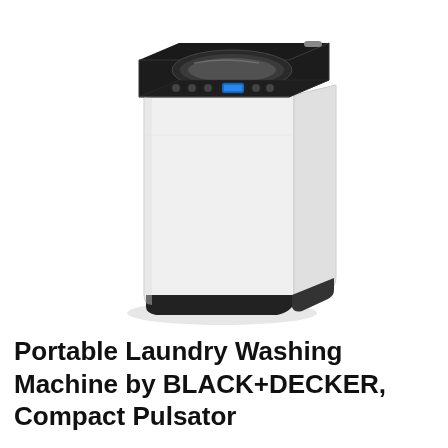[Figure (photo): A white portable top-load washing machine by BLACK+DECKER, shown at a slight angle. The machine has a black-framed transparent lid on top, a control panel with buttons and a blue digital display, a white rectangular body, and a black base.]
Portable Laundry Washing Machine by BLACK+DECKER, Compact Pulsator